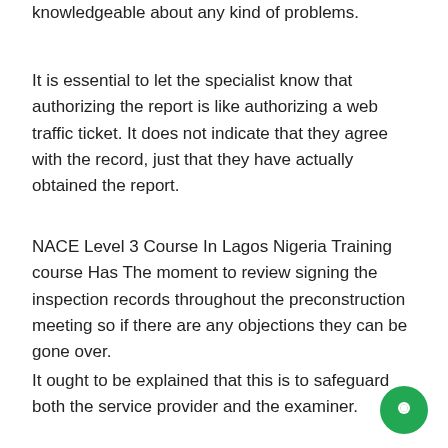knowledgeable about any kind of problems.
It is essential to let the specialist know that authorizing the report is like authorizing a web traffic ticket. It does not indicate that they agree with the record, just that they have actually obtained the report.
NACE Level 3 Course In Lagos Nigeria Training course Has The moment to review signing the inspection records throughout the preconstruction meeting so if there are any objections they can be gone over.
It ought to be explained that this is to safeguard both the service provider and the examiner.